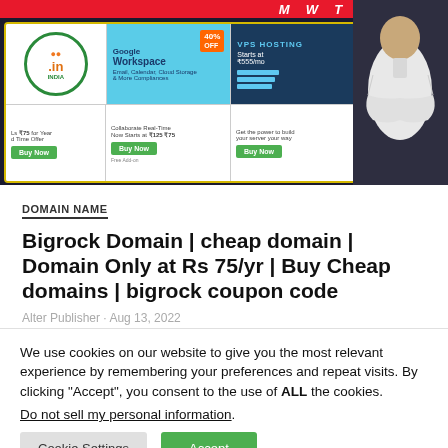[Figure (screenshot): Banner advertisement area showing Bigrock hosting deals including .in domain registration, Google Workspace 40% off, and VPS hosting starting at ₹555/mo, with a person in white kurta on the right side]
DOMAIN NAME
Bigrock Domain | cheap domain | Domain Only at Rs 75/yr | Buy Cheap domains | bigrock coupon code
We use cookies on our website to give you the most relevant experience by remembering your preferences and repeat visits. By clicking “Accept”, you consent to the use of ALL the cookies.
Do not sell my personal information.